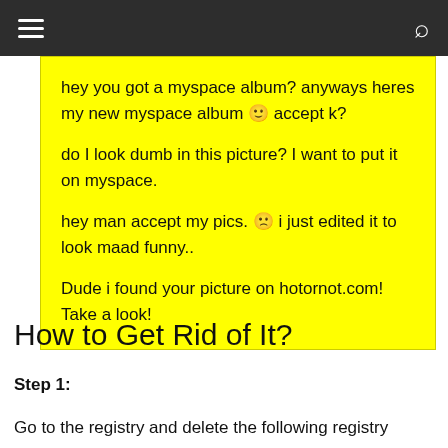≡  🔍
hey you got a myspace album? anyways heres my new myspace album 🙂 accept k?
do I look dumb in this picture? I want to put it on myspace.
hey man accept my pics. 🙁 i just edited it to look maad funny..
Dude i found your picture on hotornot.com! Take a look!
How to Get Rid of It?
Step 1:
Go to the registry and delete the following registry entry: